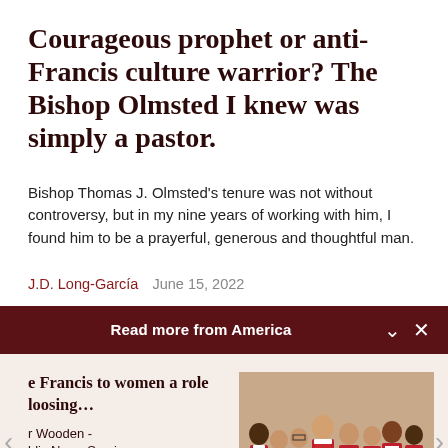Courageous prophet or anti-Francis culture warrior? The Bishop Olmsted I knew was simply a pastor.
Bishop Thomas J. Olmsted's tenure was not without controversy, but in my nine years of working with him, I found him to be a prayerful, generous and thoughtful man.
J.D. Long-García   June 15, 2022
Read more from America
e Francis to women a role loosing… r Wooden - blic News Service
[Figure (photo): Clergy in red and white vestments standing together, group photo]